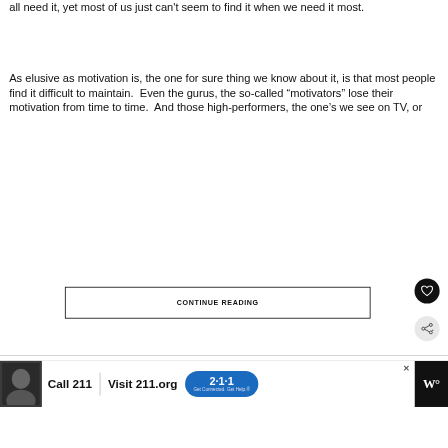all need it, yet most of us just can't seem to find it when we need it most.
As elusive as motivation is, the one for sure thing we know about it, is that most people find it difficult to maintain.  Even the gurus, the so-called “motivators” lose their motivation from time to time.  And those high-performers, the one’s we see on TV, or
CONTINUE READING
Call 211 | Visit 211.org